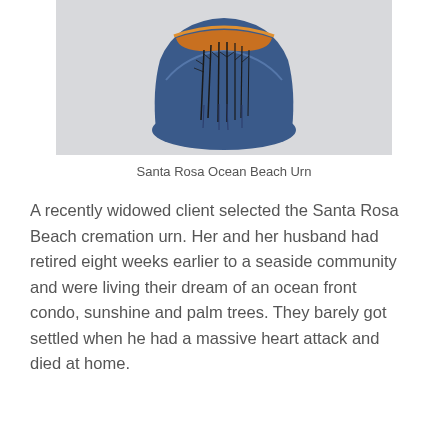[Figure (photo): A decorative cremation urn with a blue and brown glaze featuring a scenic design of trees/reeds reflected on water, reminiscent of an ocean beach scene.]
Santa Rosa Ocean Beach Urn
A recently widowed client selected the Santa Rosa Beach cremation urn. Her and her husband had retired eight weeks earlier to a seaside community and were living their dream of an ocean front condo, sunshine and palm trees. They barely got settled when he had a massive heart attack and died at home.